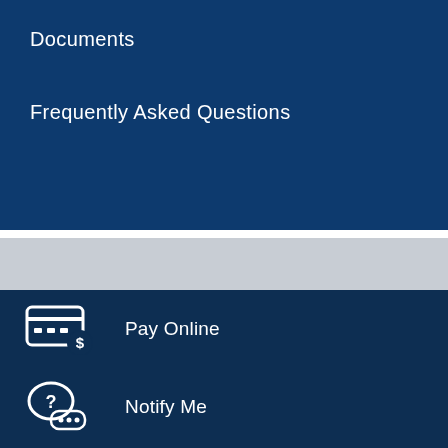Documents
Frequently Asked Questions
Pay Online
Notify Me
Calendar
Recreation
Staff Directory